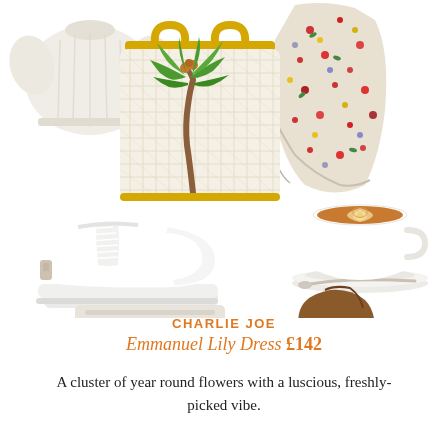[Figure (photo): Product collage: cream ribbed sweater (top-left), yellow-handled woven tote bag with palm tree motif (center), colorful floral dress (top-right), white platform sneakers (bottom-left), coffee latte in white cup on saucer (right). Partial items visible at bottom.]
CHARLIE JOE
Emmanuel Lily Dress £142
A cluster of year round flowers with a luscious, freshly-picked vibe.